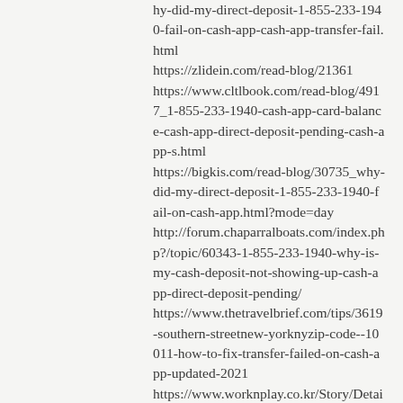hy-did-my-direct-deposit-1-855-233-1940-fail-on-cash-app-cash-app-transfer-fail.html https://zlidein.com/read-blog/21361 https://www.cltlbook.com/read-blog/4917_1-855-233-1940-cash-app-card-balance-cash-app-direct-deposit-pending-cash-app-s.html https://bigkis.com/read-blog/30735_why-did-my-direct-deposit-1-855-233-1940-fail-on-cash-app.html?mode=day http://forum.chaparralboats.com/index.php?/topic/60343-1-855-233-1940-why-is-my-cash-deposit-not-showing-up-cash-app-direct-deposit-pending/ https://www.thetravelbrief.com/tips/3619-southern-streetnew-yorknyzip-code--10011-how-to-fix-transfer-failed-on-cash-app-updated-2021 https://www.worknplay.co.kr/Story/Detail/Article/18345 https://www.worknplay.co.kr/Story/Detail/Article/18338 https://www.worknplay.co.kr/Story/Detail/Ar